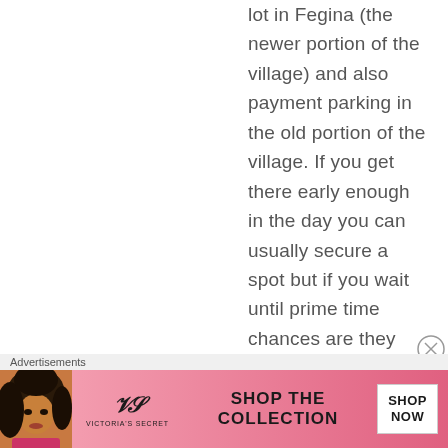lot in Fegina (the newer portion of the village) and also payment parking in the old portion of the village. If you get there early enough in the day you can usually secure a spot but if you wait until prime time chances are they will be full.
[Figure (other): Victoria's Secret advertisement banner showing a woman model on the left, VS logo in center-left, 'SHOP THE COLLECTION' text in center, and a 'SHOP NOW' button on the right. Pink/rose gradient background.]